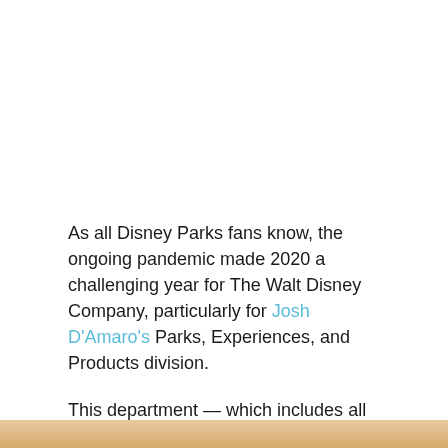As all Disney Parks fans know, the ongoing pandemic made 2020 a challenging year for The Walt Disney Company, particularly for Josh D'Amaro's Parks, Experiences, and Products division.
This department — which includes all Disney theme parks and Disney Cruise Line — lost $2.4 billion in the fourth quarter alone.